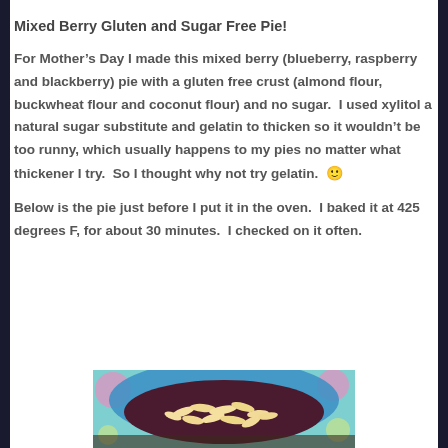Mixed Berry Gluten and Sugar Free Pie!
For Mother’s Day I made this mixed berry (blueberry, raspberry and blackberry) pie with a gluten free crust (almond flour, buckwheat flour and coconut flour) and no sugar.  I used xylitol a natural sugar substitute and gelatin to thicken so it wouldn’t be too runny, which usually happens to my pies no matter what thickener I try.  So I thought why not try gelatin.  🙂
Below is the pie just before I put it in the oven.  I baked it at 425 degrees F, for about 30 minutes.  I checked on it often.
[Figure (photo): A pie in a decorative dish with floral background, topped with sliced almonds, shown just before baking. Only the top portion of the pie is visible.]